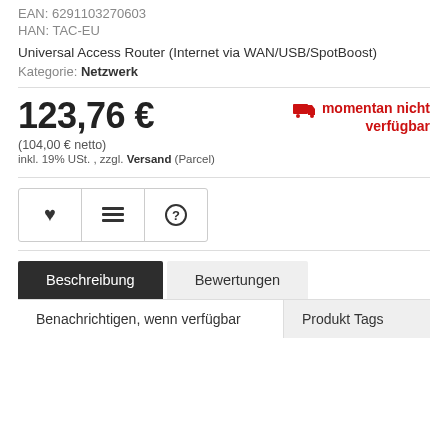EAN: 6291103270603
HAN: TAC-EU
Universal Access Router (Internet via WAN/USB/SpotBoost)
Kategorie: Netzwerk
123,76 €
(104,00 € netto)
inkl. 19% USt. , zzgl. Versand (Parcel)
momentan nicht verfügbar
Beschreibung
Bewertungen
Benachrichtigen, wenn verfügbar
Produkt Tags